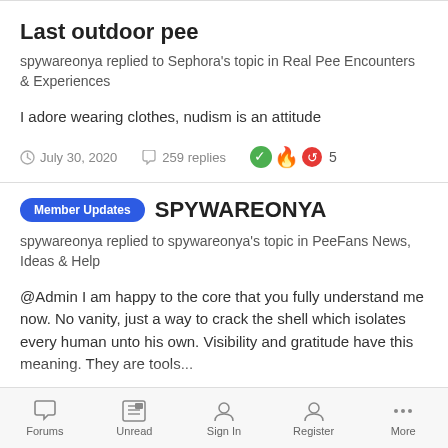Last outdoor pee
spywareonya replied to Sephora's topic in Real Pee Encounters & Experiences
I adore wearing clothes, nudism is an attitude
July 30, 2020   259 replies   5
SPYWAREONYA
spywareonya replied to spywareonya's topic in PeeFans News, Ideas & Help
@Admin I am happy to the core that you fully understand me now. No vanity, just a way to crack the shell which isolates every human unto his own. Visibility and gratitude have this meaning. They are tools...
July 23, 2020   22 replies   11
Forums   Unread   Sign In   Register   More